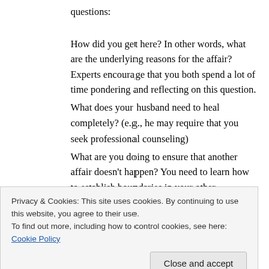questions:
How did you get here? In other words, what are the underlying reasons for the affair? Experts encourage that you both spend a lot of time pondering and reflecting on this question.
What does your husband need to heal completely? (e.g., he may require that you seek professional counseling)
What are you doing to ensure that another affair doesn't happen? You need to learn how to establish boundaries in your other relationships because affairs are essentially boundary violations.
If you move forward in this marriage what are you
Privacy & Cookies: This site uses cookies. By continuing to use this website, you agree to their use.
To find out more, including how to control cookies, see here: Cookie Policy
Close and accept